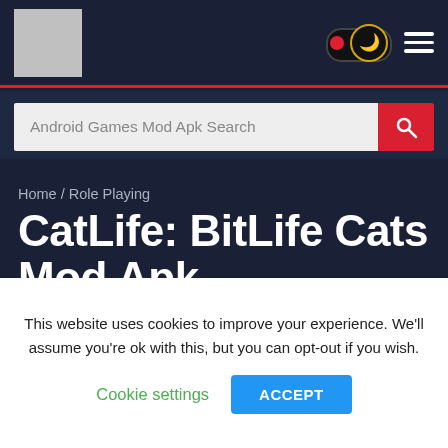CatLife: BitLife Cats Mod Apk - Android Games Mod Apk
[Figure (screenshot): Website header with logo placeholder, dark mode toggle with moon icon, and hamburger menu on dark navy background with red bottom border]
Android Games Mod Apk Search
Home / Role Playing
CatLife: BitLife Cats Mod Apk
1.5.6
Role Playing
This website uses cookies to improve your experience. We'll assume you're ok with this, but you can opt-out if you wish.
Cookie settings  ACCEPT